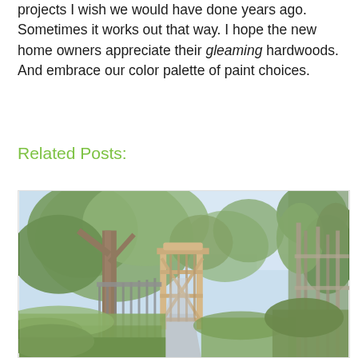projects I wish we would have done years ago. Sometimes it works out that way. I hope the new home owners appreciate their gleaming hardwoods. And embrace our color palette of paint choices.
Related Posts:
[Figure (photo): Outdoor garden scene showing a tree-lined pathway leading to a wooden gate, with lush green plants and shrubs on either side, blue sky visible in background]